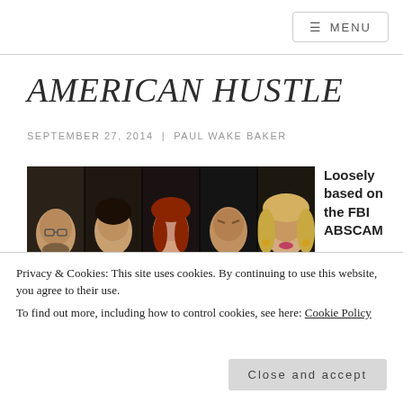≡ MENU
AMERICAN HUSTLE
SEPTEMBER 27, 2014 | PAUL WAKE BAKER
[Figure (photo): Five cast members of American Hustle in portrait-style promotional photos side by side: Christian Bale, Bradley Cooper, Amy Adams, Jeremy Renner, Jennifer Lawrence]
Loosely based on the FBI ABSCAM
Privacy & Cookies: This site uses cookies. By continuing to use this website, you agree to their use.
To find out more, including how to control cookies, see here: Cookie Policy
Close and accept